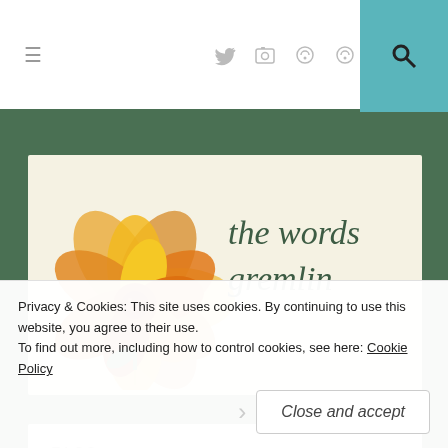≡ [twitter icon] [instagram icon] [icon] [icon] [search]
[Figure (logo): The Words Gremlin blog logo: a painted orange/yellow dahlia flower on a cream background with the text 'the words gremlin' in dark green italic serif font]
TAGS
The Na'Gallo To...
Privacy & Cookies: This site uses cookies. By continuing to use this website, you agree to their use.
To find out more, including how to control cookies, see here: Cookie Policy
Close and accept